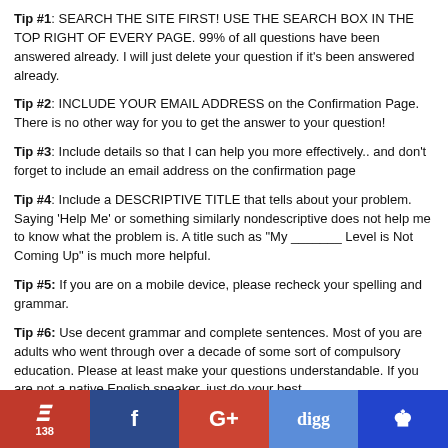Tip #1: SEARCH THE SITE FIRST! USE THE SEARCH BOX IN THE TOP RIGHT OF EVERY PAGE. 99% of all questions have been answered already. I will just delete your question if it's been answered already.
Tip #2: INCLUDE YOUR EMAIL ADDRESS on the Confirmation Page. There is no other way for you to get the answer to your question!
Tip #3: Include details so that I can help you more effectively.. and don't forget to include an email address on the confirmation page
Tip #4: Include a DESCRIPTIVE TITLE that tells about your problem. Saying 'Help Me' or something similarly nondescriptive does not help me to know what the problem is. A title such as "My _______ Level is Not Coming Up" is much more helpful.
Tip #5: If you are on a mobile device, please recheck your spelling and grammar.
Tip #6: Use decent grammar and complete sentences. Most of you are adults who went through over a decade of some sort of compulsory education. Please at least make your questions understandable. If you are not a native English speaker, just do your best.
[Figure (infographic): Social sharing bar with Pinterest (138), Facebook, Google+, Digg, and crown/bookmark buttons]